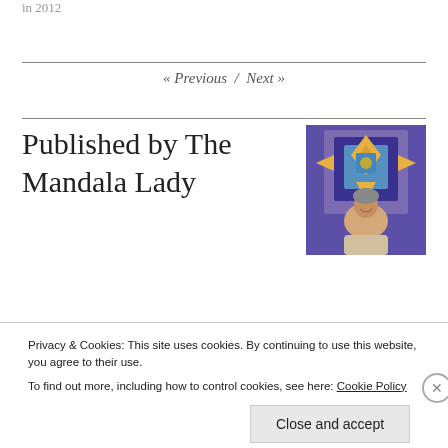in 2012
« Previous / Next »
Published by The Mandala Lady
[Figure (photo): Photo of a smiling woman in front of a colorful mandala artwork]
My Mission: connecting with our Inner Light in delightful, inspiring
Privacy & Cookies: This site uses cookies. By continuing to use this website, you agree to their use.
To find out more, including how to control cookies, see here: Cookie Policy
Close and accept